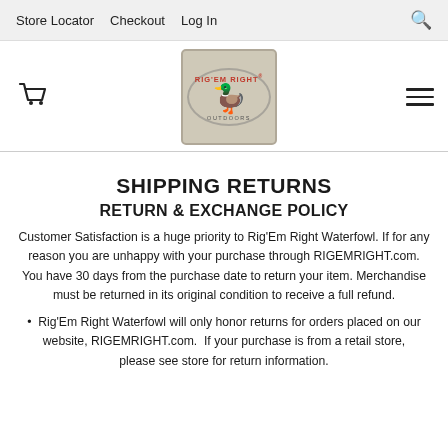Store Locator  Checkout  Log In
[Figure (logo): Rig'Em Right Outdoors logo — rectangular badge with duck silhouette and elliptical ring, on worn tan/beige background]
SHIPPING RETURNS
RETURN & EXCHANGE POLICY
Customer Satisfaction is a huge priority to Rig'Em Right Waterfowl. If for any reason you are unhappy with your purchase through RIGEMRIGHT.com. You have 30 days from the purchase date to return your item. Merchandise must be returned in its original condition to receive a full refund.
Rig'Em Right Waterfowl will only honor returns for orders placed on our website, RIGEMRIGHT.com.  If your purchase is from a retail store, please see store for return information.